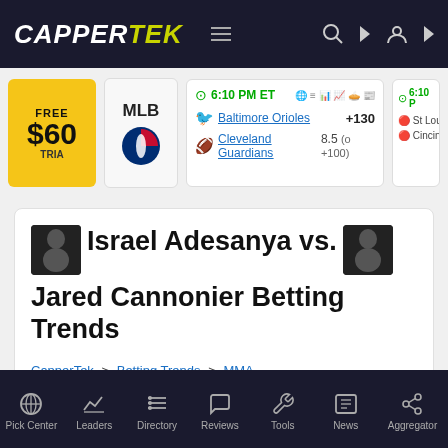CAPPERTEK
[Figure (screenshot): Sports betting scores bar showing MLB game: Baltimore Orioles +130 vs Cleveland Guardians 8.5 (o +100) at 6:10 PM ET; partial second game visible]
Israel Adesanya vs. Jared Cannonier Betting Trends
CapperTek > Betting Trends > MMA > Israel Adesanya vs. Jared Cannonier - 11:25 PM ET (7/2/2022)
Pick Center  Leaders  Directory  Reviews  Tools  News  Aggregator